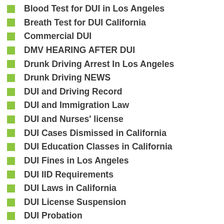Blood Test for DUI in Los Angeles
Breath Test for DUI California
Commercial DUI
DMV HEARING AFTER DUI
Drunk Driving Arrest In Los Angeles
Drunk Driving NEWS
DUI and Driving Record
DUI and Immigration Law
DUI and Nurses' license
DUI Cases Dismissed in California
DUI Education Classes in California
DUI Fines in Los Angeles
DUI IID Requirements
DUI Laws in California
DUI License Suspension
DUI Probation
Hit and Run
How to fight for you case